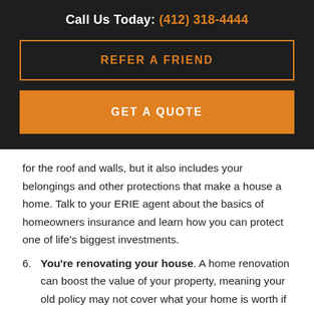Call Us Today: (412) 318-4444
REFER A FRIEND
GET A QUOTE
for the roof and walls, but it also includes your belongings and other protections that make a house a home. Talk to your ERIE agent about the basics of homeowners insurance and learn how you can protect one of life's biggest investments.
6. You're renovating your house. A home renovation can boost the value of your property, meaning your old policy may not cover what your home is worth if